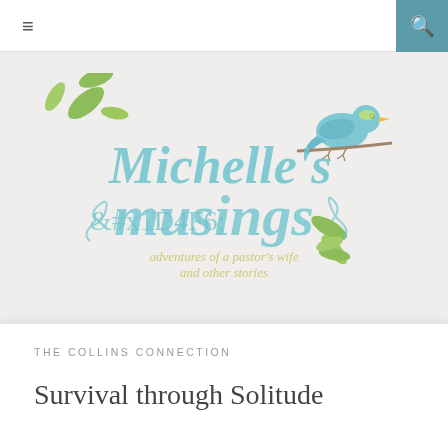≡  🔍
[Figure (logo): Michelle's Musings blog logo — decorative watercolor script text reading "Michelle's musings" with subtitle "adventures of a pastor's wife and other stories", decorated with green leaves and a blue bird perched on a branch]
THE COLLINS CONNECTION
Survival through Solitude